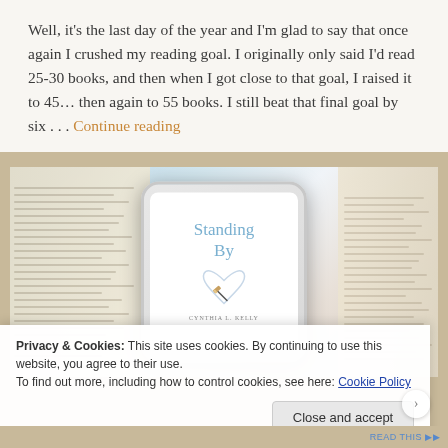Well, it's the last day of the year and I'm glad to say that once again I crushed my reading goal. I originally only said I'd read 25-30 books, and then when I got close to that goal, I raised it to 45… then again to 55 books. I still beat that final goal by six . . . Continue reading
[Figure (photo): A smartphone displaying the book cover of 'Standing By' resting on an open book. The phone screen shows the title in cursive blue text with a heart outline and pencil illustration.]
Privacy & Cookies: This site uses cookies. By continuing to use this website, you agree to their use. To find out more, including how to control cookies, see here: Cookie Policy
Close and accept